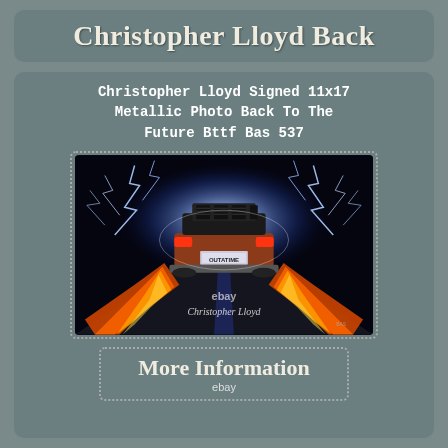Christopher Lloyd Back
Christopher Lloyd Signed 11x17 Metallic Photo Back To The Future Bttf Bas 537
[Figure (photo): Back To The Future DeLorean car from behind with fire trails and lightning, signed photo with eBay watermark and Christopher Lloyd signature]
More Information
ebay